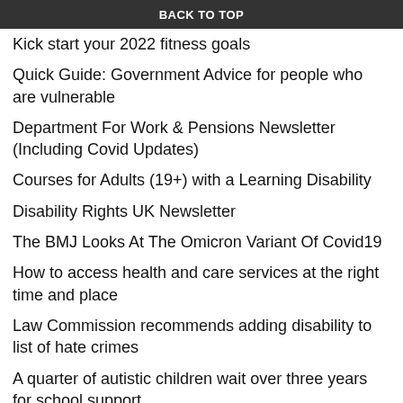Covid-19: Omicron and doing the right things to stay safe
BACK TO TOP
Kick start your 2022 fitness goals
Quick Guide: Government Advice for people who are vulnerable
Department For Work & Pensions Newsletter (Including Covid Updates)
Courses for Adults (19+) with a Learning Disability
Disability Rights UK Newsletter
The BMJ Looks At The Omicron Variant Of Covid19
How to access health and care services at the right time and place
Law Commission recommends adding disability to list of hate crimes
A quarter of autistic children wait over three years for school support
Disabled people's rights: UK's initial report and responses to periodic reviews
Disabled people's rights: the UK's 2021 report on elect…